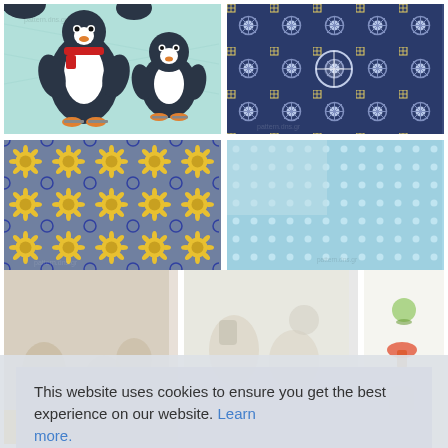[Figure (illustration): Cute cartoon penguin pattern on a light teal/mint background. Two penguins with red scarves and ice skates visible, with partial penguins at top and bottom.]
[Figure (illustration): Blue and white decorative tile/mosaic pattern with floral and geometric motifs. Dark navy blue background with silver, white, and gold/yellow accent tiles.]
[Figure (illustration): Colorful decorative tile mosaic pattern with yellow sunflower motifs, blue floral designs, and geometric patterns on a gray-blue background.]
[Figure (illustration): Light blue fabric or paper texture with small white polka dots/snowflakes scattered across the surface. Simple, clean pattern.]
[Figure (illustration): Bottom-left: partial view of pattern with yellow/orange stripes at bottom edge, light pattern above.]
[Figure (illustration): Bottom-center: light pattern with food/dessert illustrations.]
[Figure (illustration): Bottom-right: white/cream background with small colorful food illustrations including mushrooms and other items.]
This website uses cookies to ensure you get the best experience on our website. Learn more.
Got it!